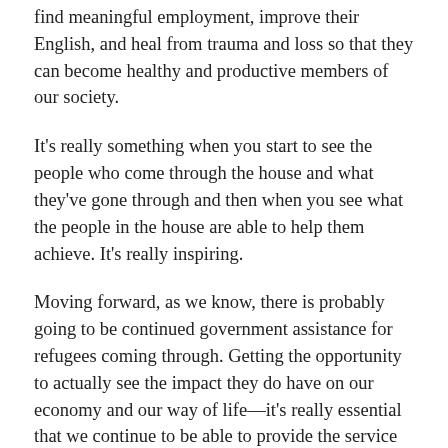find meaningful employment, improve their English, and heal from trauma and loss so that they can become healthy and productive members of our society.
It's really something when you start to see the people who come through the house and what they've gone through and then when you see what the people in the house are able to help them achieve. It's really inspiring.
Moving forward, as we know, there is probably going to be continued government assistance for refugees coming through. Getting the opportunity to actually see the impact they do have on our economy and our way of life—it's really essential that we continue to be able to provide the service that we do.
Our mission is that all refugees and permanent residents arriving in Waterloo region settle, integrate and become contributing members of our community and our economy. Just looking at the stats below from the 2016 census...